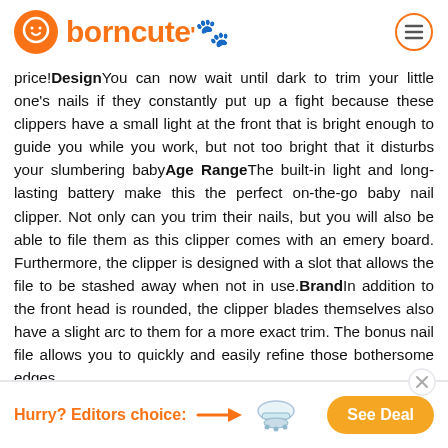borncute
price!DesignYou can now wait until dark to trim your little one's nails if they constantly put up a fight because these clippers have a small light at the front that is bright enough to guide you while you work, but not too bright that it disturbs your slumbering babyAge RangeThe built-in light and long-lasting battery make this the perfect on-the-go baby nail clipper. Not only can you trim their nails, but you will also be able to file them as this clipper comes with an emery board. Furthermore, the clipper is designed with a slot that allows the file to be stashed away when not in use.BrandIn addition to the front head is rounded, the clipper blades themselves also have a slight arc to them for a more exact trim. The bonus nail file allows you to quickly and easily refine those bothersome edges.
Hurry? Editors choice: → See Deal